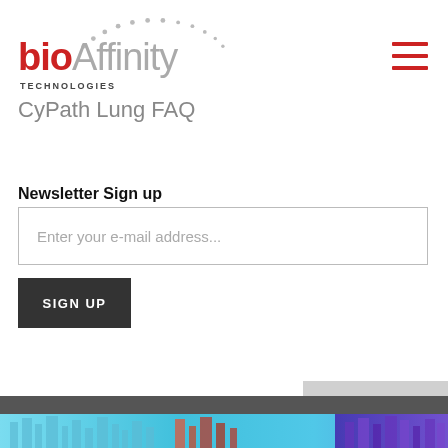[Figure (logo): bioAffinity Technologies logo with dotted arc above the text]
CyPath Lung FAQ
Newsletter Sign up
Enter your e-mail address...
SIGN UP
Back to Top
[Figure (photo): Colorful city skyline banner at the bottom of the page with blue and purple tones]